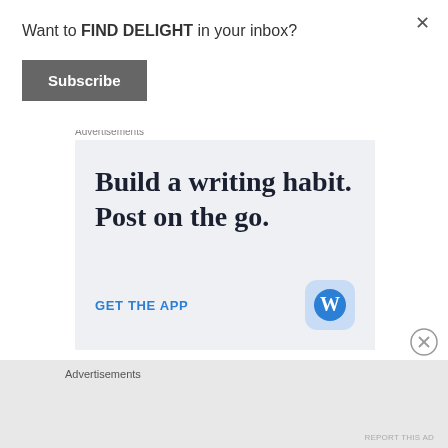Want to FIND DELIGHT in your inbox?
Subscribe
Advertisements
[Figure (screenshot): WordPress app advertisement: 'Build a writing habit. Post on the go.' with GET THE APP button and WordPress logo icon]
Advertisements
REPORT THIS AD